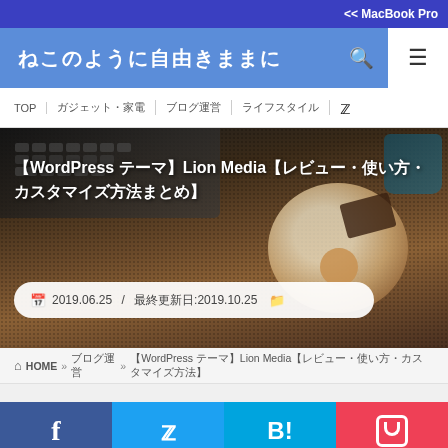<< MacBook Pro
ねこのように自由きままに
TOP | ガジェット・家電 | ブログ運営 | ライフスタイル | Twitter
[Figure (photo): Hero image showing a laptop keyboard and a plate with food/coffee on a wooden table background]
【WordPress テーマ】Lion Media【レビュー・使い方・カスタマイズ方法まとめ】
2019.06.25 / 最終更新日:2019.10.25
🏠 HOME ＞ ブログ運営 ＞ 【WordPress テーマ】Lion Media【レビュー・使い方・カスタマイズ方法】
[Figure (infographic): Social sharing buttons: Facebook (blue), Twitter (light blue), Hatena Bookmark (cyan/blue), Pocket (red/pink)]